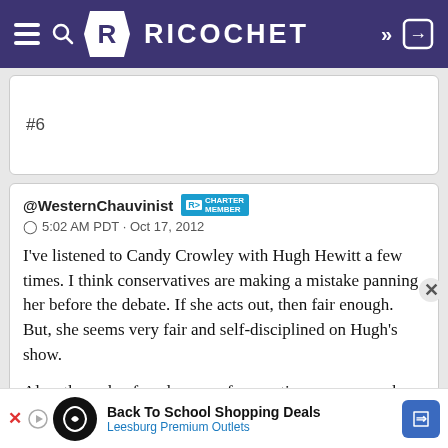Ricochet
#6
@WesternChauvinist [CHARTER MEMBER] 5:02 AM PDT · Oct 17, 2012
I've listened to Candy Crowley with Hugh Hewitt a few times. I think conservatives are making a mistake panning her before the debate. If she acts out, then fair enough. But, she seems very fair and self-disciplined on Hugh's show.

Also, through a few degrees of separation, someone who knows her says she's fiscally conservative
Back To School Shopping Deals Leesburg Premium Outlets